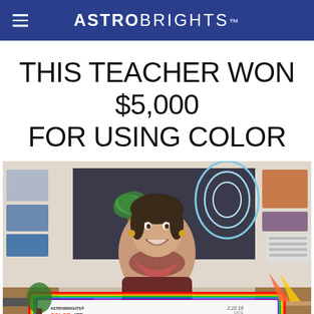ASTROBRIGHTS
THIS TEACHER WON $5,000 FOR USING COLOR
[Figure (photo): A smiling female teacher stands in a colorful classroom holding a large ceremonial check made out to Michelle Spigner for $5,000 from Astrobrights Colorize Your Classroom, dated 2.22.16, for 2015 Grand Prize Winner.]